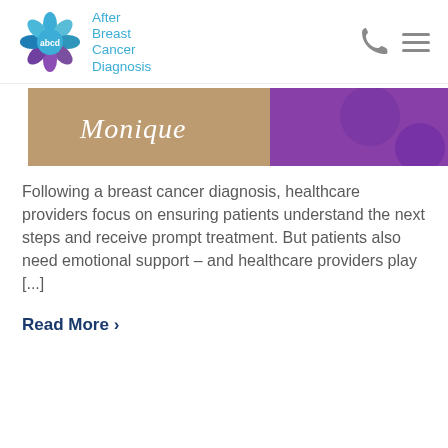[Figure (logo): After Breast Cancer Diagnosis (ABCD) logo with teal and purple flower icon and teal text reading 'After Breast Cancer Diagnosis']
[Figure (photo): Banner image showing a person with the cursive text 'Monique' overlaid on a split photo with a purple background on the right half]
Following a breast cancer diagnosis, healthcare providers focus on ensuring patients understand the next steps and receive prompt treatment. But patients also need emotional support – and healthcare providers play [...]
Read More ›